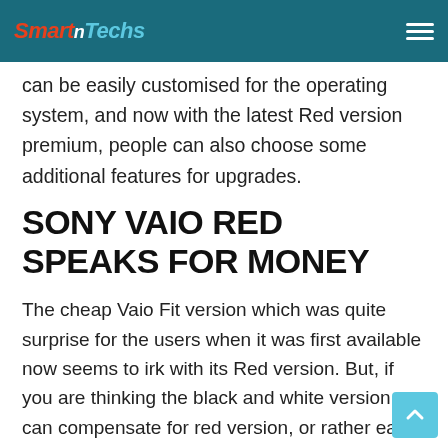SmartnTechs
can be easily customised for the operating system, and now with the latest Red version premium, people can also choose some additional features for upgrades.
SONY VAIO RED SPEAKS FOR MONEY
The cheap Vaio Fit version which was quite surprise for the users when it was first available now seems to irk with its Red version. But, if you are thinking the black and white version can compensate for red version, or rather eager to know, as what is it to make the hike in the price tag. So read it below.
A touch of professional and business class springs up